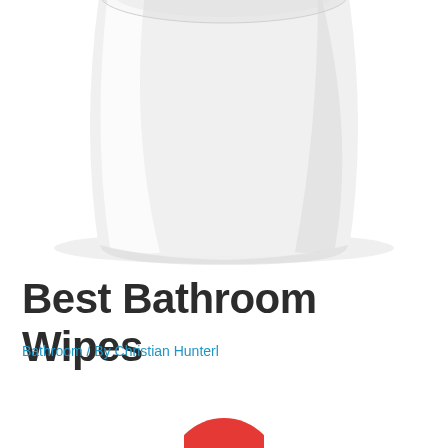[Figure (photo): A white cylindrical container/canister for bathroom wipes, photographed on a white background, showing the top and side of the container. The image is cropped showing mainly the upper portion of the container.]
Best Bathroom Wipes
Bathroom / By Christian Hunterl
[Figure (other): Partial red circle visible at the bottom center of the page, likely a play button or icon]